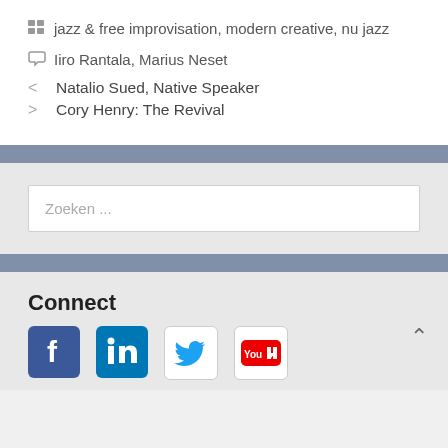jazz & free improvisation, modern creative, nu jazz
Iiro Rantala, Marius Neset
< Natalio Sued, Native Speaker
> Cory Henry: The Revival
Zoeken ...
Connect
[Figure (logo): Social media icons: Facebook, LinkedIn, Twitter, YouTube]